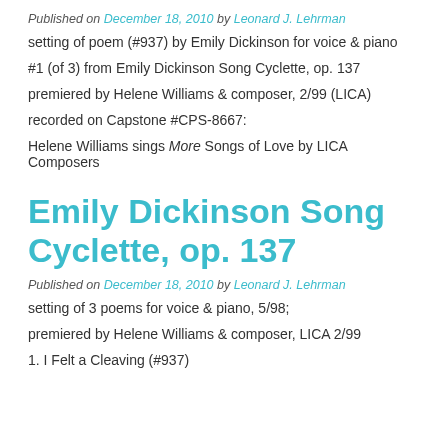Published on December 18, 2010 by Leonard J. Lehrman
setting of poem (#937) by Emily Dickinson for voice & piano
#1 (of 3) from Emily Dickinson Song Cyclette, op. 137
premiered by Helene Williams & composer, 2/99 (LICA)
recorded on Capstone #CPS-8667:
Helene Williams sings More Songs of Love by LICA Composers
Emily Dickinson Song Cyclette, op. 137
Published on December 18, 2010 by Leonard J. Lehrman
setting of 3 poems for voice & piano, 5/98;
premiered by Helene Williams & composer, LICA 2/99
1. I Felt a Cleaving (#937)